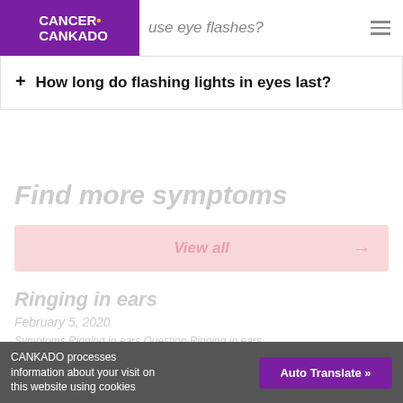CANCER. CANKADO — use eye flashes?
+ How long do flashing lights in eyes last?
Find more symptoms
View all →
Ringing in ears
February 5, 2020
Symptoms Ringing in ears Question Ringing in ears
CANKADO processes information about your visit on this website using cookies   Auto Translate »